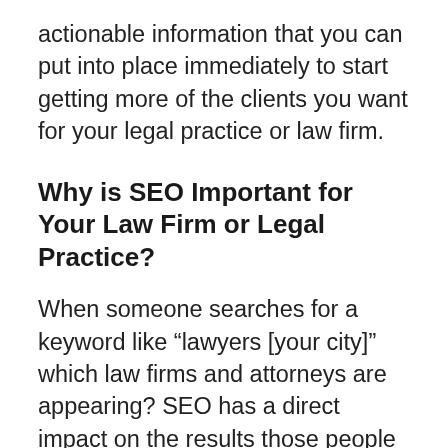actionable information that you can put into place immediately to start getting more of the clients you want for your legal practice or law firm.
Why is SEO Important for Your Law Firm or Legal Practice?
When someone searches for a keyword like “lawyers [your city]” which law firms and attorneys are appearing? SEO has a direct impact on the results those people are seeing. SEO improves your organic search engine rankings, which makes it more likely that potential clients